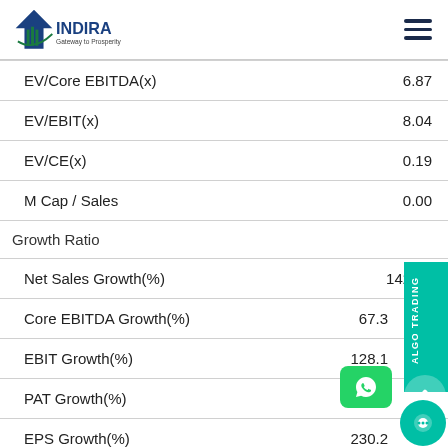INDIRA Gateway to Prosperity
| Metric | Value |
| --- | --- |
| EV/Core EBITDA(x) | 6.87 |
| EV/EBIT(x) | 8.04 |
| EV/CE(x) | 0.19 |
| M Cap / Sales | 0.00 |
| Growth Ratio |  |
| Net Sales Growth(%) | 142.02 |
| Core EBITDA Growth(%) | 67.3 |
| EBIT Growth(%) | 128.1 |
| PAT Growth(%) | 230.2 |
| EPS Growth(%) | 230.2 |
| Financial Stability Ratio |  |